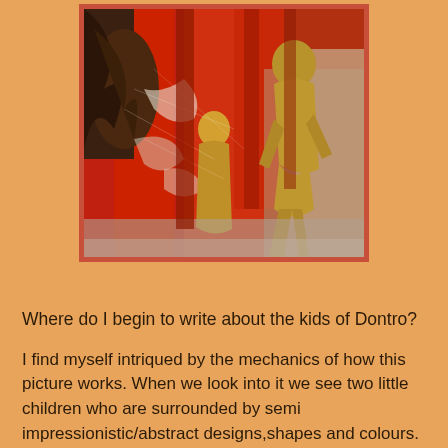[Figure (illustration): A painting showing two small children surrounded by semi-impressionistic/abstract designs with reds, oranges, and earth tones. The figures appear as golden/bronze colored children amid vibrant drapery and abstract shapes.]
Where do I begin to write about the kids of Dontro?
I find myself intriqued by the mechanics of how this picture works. When we look into it we see two little children who are surrounded by semi impressionistic/abstract designs,shapes and colours.
This surround effect adds drama to the work and it enhances their visual impact. Its as if the children are caught walking